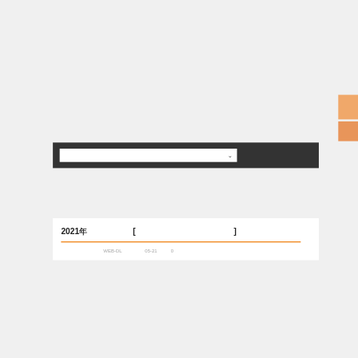[Figure (screenshot): Screenshot of a web interface with a dark dropdown bar containing a select input with Japanese-like placeholder text and a chevron, and below it a white content card showing a title '2021年 〇〇〇〇〇 [〇〇〇〇〇〇〇〇〇〇〇〇]' with an orange underline and metadata row showing WEB-DL〇〇, 05-21, 0. Orange accent blocks visible on the right edge.]